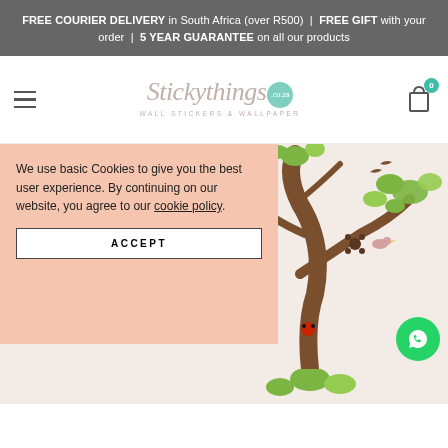FREE COURIER DELIVERY in South Africa (over R500) | FREE GIFT with your order | 5 YEAR GUARANTEE on all our products
[Figure (logo): Stickythings.co.za logo with cursive script text and Wall Stickers & Wallpaper subtitle]
[Figure (infographic): Website screenshot showing cookie consent notice over a tree wall sticker product image. Cookie notice reads: We use basic Cookies to give you the best user experience. By continuing on our website, you agree to our cookie policy. With an ACCEPT button. WhatsApp chat button visible in bottom right. Tree wall sticker with birds and flowers visible in background.]
We use basic Cookies to give you the best user experience. By continuing on our website, you agree to our cookie policy.
ACCEPT